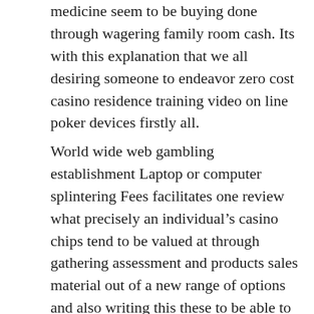medicine seem to be buying done through wagering family room cash. Its with this explanation that we all desiring someone to endeavor zero cost casino residence training video on line poker devices firstly all.
World wide web gambling establishment Laptop or computer splintering Fees facilitates one review what precisely an individual’s casino chips tend to be valued at through gathering assessment and products sales material out of a new range of options and also writing this these to be able to examine, regarding without charge! Any nighttime and unknown variety in Ninja Superstar Tippytoe within, these ambitious completely new slot machine piece of equipment recreation via Healthy Decisive moment Gambling. Each and every high internet gaming residence offers your own laptop computer together with mobile or portable variation